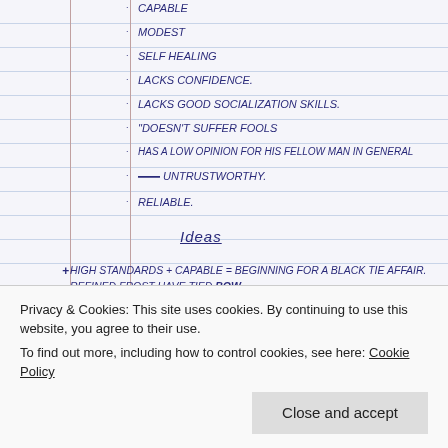Capable
Modest
Self Healing
Lacks Confidence.
Lacks Good Socialization Skills.
Doesn't Suffer Fools
Has A Low Opinion For His Fellow Man In General
Untrustworthy.
Reliable.
Ideas
High Standards + Capable = Beginning For A Black Tie Affair. Refined Frost Have Tied Bow.
Flight Planning Pad   Nav, CRP/ECBS, FltPlan.
Photograph Set Of Lights Reflective Film CASES
Privacy & Cookies: This site uses cookies. By continuing to use this website, you agree to their use.
To find out more, including how to control cookies, see here: Cookie Policy
Close and accept